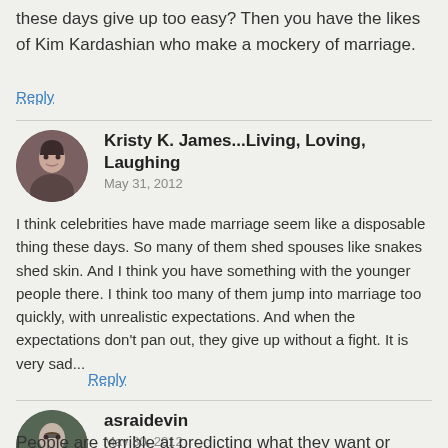these days give up too easy? Then you have the likes of Kim Kardashian who make a mockery of marriage.
Reply
Kristy K. James...Living, Loving, Laughing
May 31, 2012
I think celebrities have made marriage seem like a disposable thing these days. So many of them shed spouses like snakes shed skin. And I think you have something with the younger people there. I think too many of them jump into marriage too quickly, with unrealistic expectations. And when the expectations don't pan out, they give up without a fight. It is very sad...
Reply
asraidevin
May 30, 2012
People are terrible at predicting what they want or